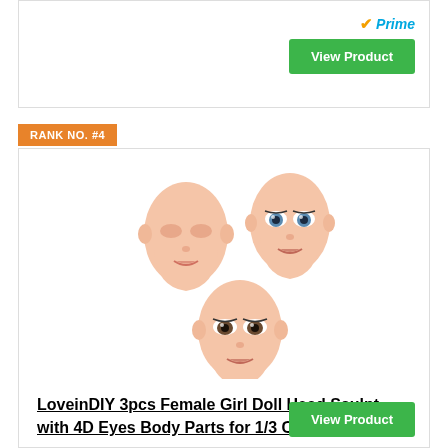[Figure (other): Amazon Prime checkmark logo with 'Prime' text in blue italic, followed by a green 'View Product' button]
RANK NO. #4
[Figure (photo): Three doll heads with detailed facial features arranged in a triangle pattern - two on top and one on bottom. The faces show 4D eyes and sculpted features, skin-toned.]
LoveinDIY 3pcs Female Girl Doll Head Sculpt with 4D Eyes Body Parts for 1/3 Customised Doll